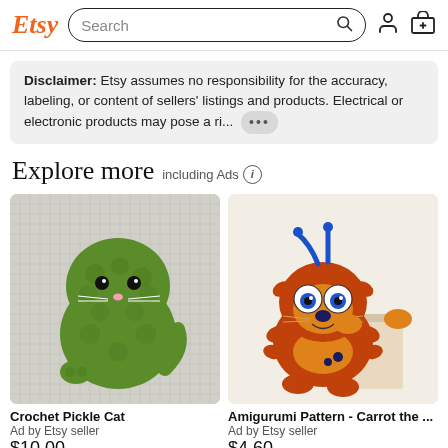Etsy | Search
Disclaimer: Etsy assumes no responsibility for the accuracy, labeling, or content of sellers' listings and products. Electrical or electronic products may pose a ri... •••
Explore more including Ads
[Figure (photo): Green crochet pickle cat amigurumi toy on a gray surface]
Crochet Pickle Cat
Ad by Etsy seller
$10.00
[Figure (photo): Orange and red amigurumi carrot character with googly eyes sitting on a wooden block]
Amigurumi Pattern - Carrot the ...
Ad by Etsy seller
$4.60